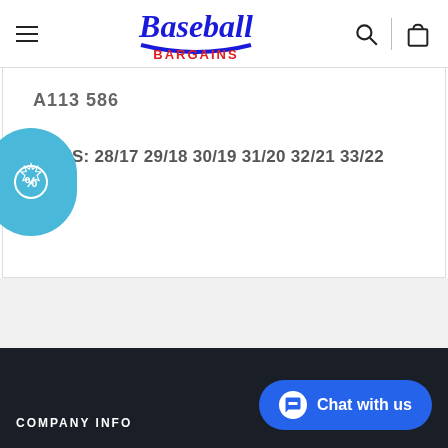[Figure (logo): Baseball Bargains logo with blue cursive text and red BARGAINS text]
A113 586
SIZES: 28/17 29/18 30/19 31/20 32/21 33/22
COMPANY INFO